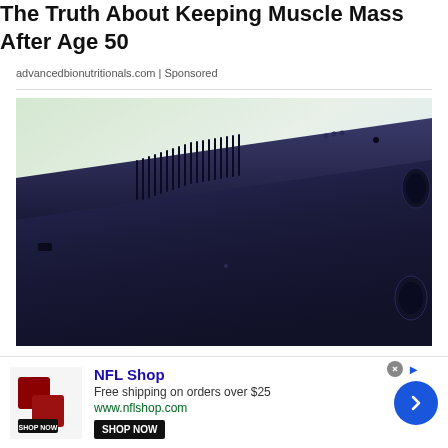The Truth About Keeping Muscle Mass After Age 50
advancedbionutritionals.com | Sponsored
[Figure (photo): Close-up photo of the underside/edge of a dark navy blue laptop or electronic device, showing ventilation slots, ports, and corner rubber feet. Background is a light green/white gradient.]
Help us discover put it on life the St...
NFL Shop
Free shipping on orders over $25
www.nflshop.com
SHOP NOW